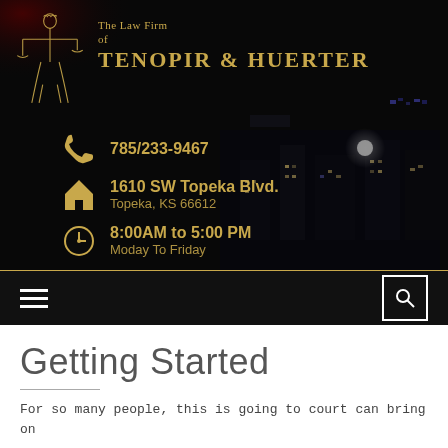[Figure (logo): The Law Firm of Tenopir & Huerter logo with Lady Justice illustration in gold on dark background]
785/233-9467
1610 SW Topeka Blvd.
Topeka, KS 66612
8:00AM to 5:00 PM
Moday To Friday
[Figure (screenshot): Navigation bar with hamburger menu icon and search icon on dark background]
Getting Started
For so many people, this is going to court can bring on